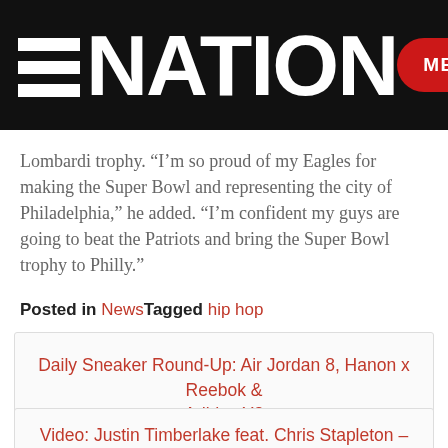=NATION  MENU
Lombardi trophy. “I’m so proud of my Eagles for making the Super Bowl and representing the city of Philadelphia,” he added. “I’m confident my guys are going to beat the Patriots and bring the Super Bowl trophy to Philly.”
Posted in News Tagged hip hop
Daily Sneaker Round-Up: Air Jordan 8, Hanon x Reebok & Adidas Y3
Video: Justin Timberlake feat. Chris Stapleton – ‘Say Something’